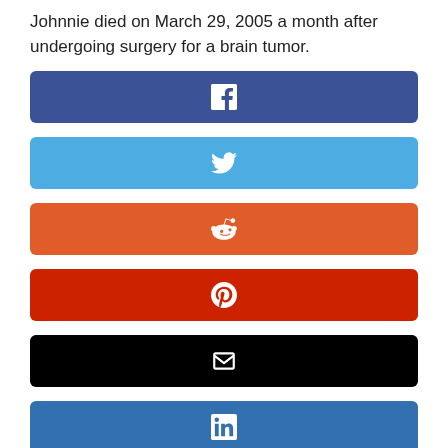Johnnie died on March 29, 2005 a month after undergoing surgery for a brain tumor.
[Figure (infographic): Social media share buttons: Facebook (blue), Twitter (light blue), Reddit (orange), Pinterest (dark red), Email (black), LinkedIn (blue), WhatsApp (green)]